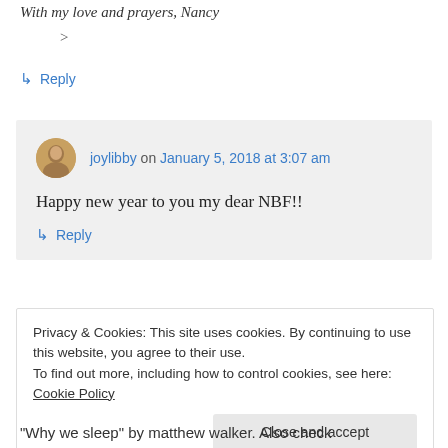With my love and prayers, Nancy
>
↳ Reply
joylibby on January 5, 2018 at 3:07 am
Happy new year to you my dear NBF!!
↳ Reply
Privacy & Cookies: This site uses cookies. By continuing to use this website, you agree to their use. To find out more, including how to control cookies, see here: Cookie Policy
Close and accept
Why we sleep" by matthew walker. Also check